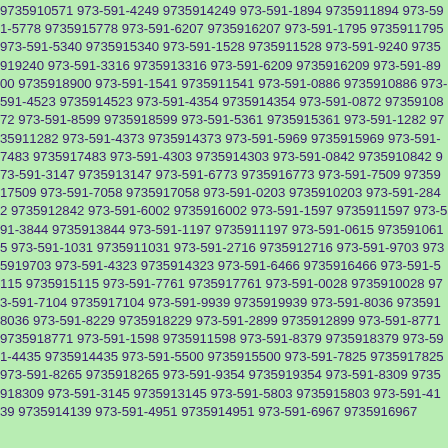9735910571 973-591-4249 9735914249 973-591-1894 9735911894 973-591-5778 9735915778 973-591-6207 9735916207 973-591-1795 9735911795 973-591-5340 9735915340 973-591-1528 9735911528 973-591-9240 9735919240 973-591-3316 9735913316 973-591-6209 9735916209 973-591-8900 9735918900 973-591-1541 9735911541 973-591-0886 9735910886 973-591-4523 9735914523 973-591-4354 9735914354 973-591-0872 9735910872 973-591-8599 9735918599 973-591-5361 9735915361 973-591-1282 9735911282 973-591-4373 9735914373 973-591-5969 9735915969 973-591-7483 9735917483 973-591-4303 9735914303 973-591-0842 9735910842 973-591-3147 9735913147 973-591-6773 9735916773 973-591-7509 9735917509 973-591-7058 9735917058 973-591-0203 9735910203 973-591-2842 9735912842 973-591-6002 9735916002 973-591-1597 9735911597 973-591-3844 9735913844 973-591-1197 9735911197 973-591-0615 9735910615 973-591-1031 9735911031 973-591-2716 9735912716 973-591-9703 9735919703 973-591-4323 9735914323 973-591-6466 9735916466 973-591-5115 9735915115 973-591-7761 9735917761 973-591-0028 9735910028 973-591-7104 9735917104 973-591-9939 9735919939 973-591-8036 9735918036 973-591-8229 9735918229 973-591-2899 9735912899 973-591-8771 9735918771 973-591-1598 9735911598 973-591-8379 9735918379 973-591-4435 9735914435 973-591-5500 9735915500 973-591-7825 9735917825 973-591-8265 9735918265 973-591-9354 9735919354 973-591-8309 9735918309 973-591-3145 9735913145 973-591-5803 9735915803 973-591-4139 9735914139 973-591-4951 9735914951 973-591-6967 9735916967